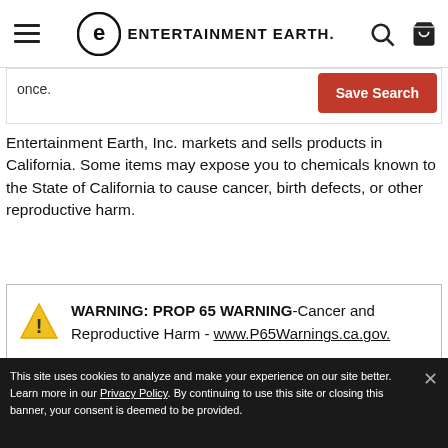Entertainment Earth header navigation
once.
Save Search
Entertainment Earth, Inc. markets and sells products in California. Some items may expose you to chemicals known to the State of California to cause cancer, birth defects, or other reproductive harm.
WARNING: PROP 65 WARNING-Cancer and Reproductive Harm - www.P65Warnings.ca.gov.
"Just got the Wave 8 GI Joe Classified Set. Awesome! You guys are the best."
Read More Testimonials
This site uses cookies to analyze and make your experience on our site better. Learn more in our Privacy Policy. By continuing to use this site or closing this banner, your consent is deemed to be provided.